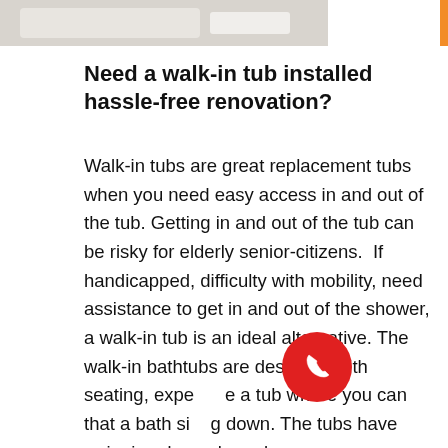[Figure (photo): Top portion of a walk-in tub or bathroom fixture, white/light colored, cropped image]
Need a walk-in tub installed hassle-free renovation?
Walk-in tubs are great replacement tubs when you need easy access in and out of the tub. Getting in and out of the tub can be risky for elderly senior-citizens.  If handicapped, difficulty with mobility, need assistance to get in and out of the shower, a walk-in tub is an ideal alternative. The walk-in bathtubs are designed with seating, experience a tub where you can that a bath sitting down. The tubs have swinging doors, large lever...